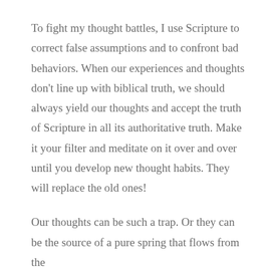To fight my thought battles, I use Scripture to correct false assumptions and to confront bad behaviors. When our experiences and thoughts don't line up with biblical truth, we should always yield our thoughts and accept the truth of Scripture in all its authoritative truth. Make it your filter and meditate on it over and over until you develop new thought habits. They will replace the old ones!
Our thoughts can be such a trap. Or they can be the source of a pure spring that flows from the